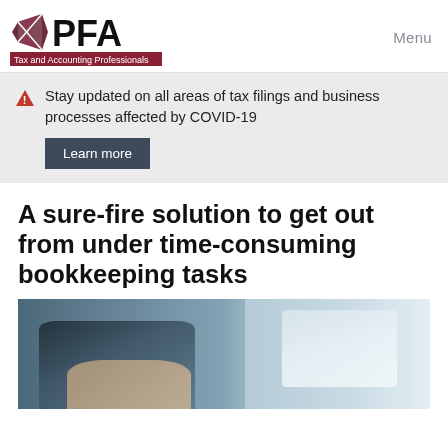PFA Tax and Accounting Professionals — Menu
Stay updated on all areas of tax filings and business processes affected by COVID-19
Learn more
A sure-fire solution to get out from under time-consuming bookkeeping tasks
[Figure (photo): Person working at a desk, blurred background, person appears to be typing or writing, office/work setting]